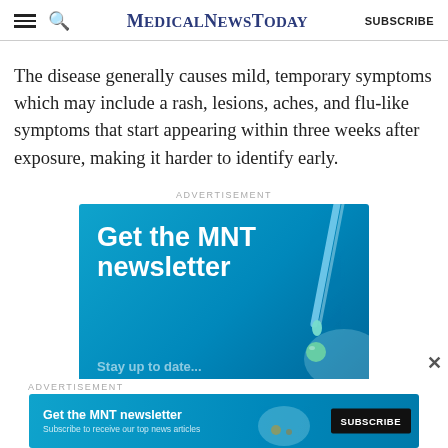MedicalNewsToday  SUBSCRIBE
The disease generally causes mild, temporary symptoms which may include a rash, lesions, aches, and flu-like symptoms that start appearing within three weeks after exposure, making it harder to identify early.
[Figure (infographic): MNT newsletter advertisement banner with blue background, dropper graphic, and text 'Get the MNT newsletter']
[Figure (infographic): Bottom sticky MNT newsletter ad with 'Get the MNT newsletter', 'Subscribe to receive our top news articles', and a SUBSCRIBE button]